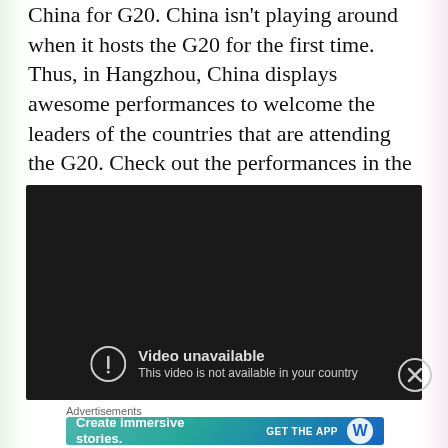China for G20. China isn't playing around when it hosts the G20 for the first time. Thus, in Hangzhou, China displays awesome performances to welcome the leaders of the countries that are attending the G20. Check out the performances in the video right after the break.
[Figure (screenshot): Embedded video player showing 'Video unavailable - This video is not available in your country' message on a dark background, with a close (X) button overlay]
Advertisements
[Figure (screenshot): WordPress advertisement banner with teal-to-blue gradient background reading 'Create immersive stories.' with 'GET THE APP' call to action and WordPress logo]